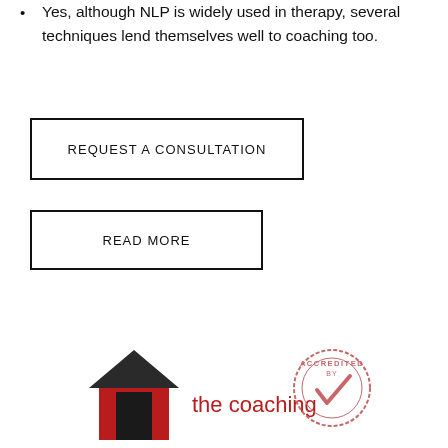Yes, although NLP is widely used in therapy, several techniques lend themselves well to coaching too.
REQUEST A CONSULTATION
READ MORE
[Figure (logo): The Coaching Academy logo with red house/roof icon and 'the coaching' text, alongside an 'Accredited By' circular stamp in pink/red]